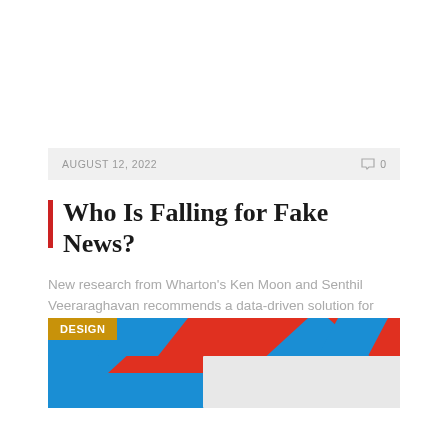AUGUST 12, 2022   0
Who Is Falling for Fake News?
New research from Wharton's Ken Moon and Senthil Veeraraghavan recommends a data-driven solution for social...
[Figure (photo): Colorful graphic with red, blue and white shapes, labeled DESIGN in orange-gold badge at top-left corner]